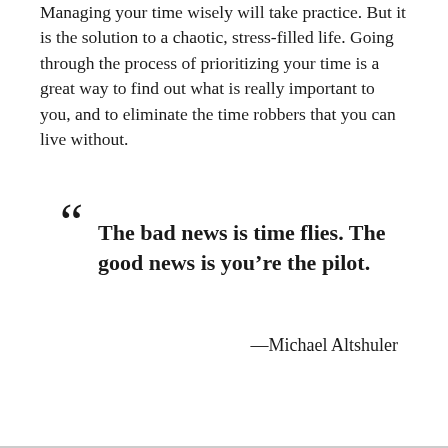Managing your time wisely will take practice. But it is the solution to a chaotic, stress-filled life. Going through the process of prioritizing your time is a great way to find out what is really important to you, and to eliminate the time robbers that you can live without.
“The bad news is time flies. The good news is you’re the pilot.
—Michael Altshuler